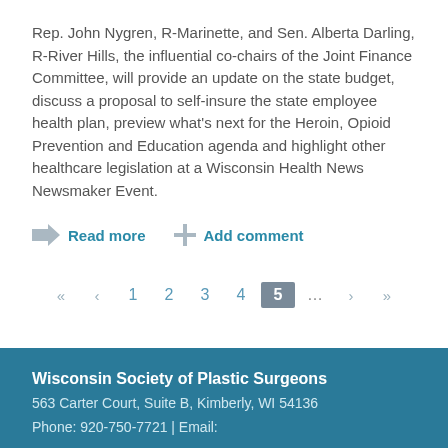Rep. John Nygren, R-Marinette, and Sen. Alberta Darling, R-River Hills, the influential co-chairs of the Joint Finance Committee, will provide an update on the state budget, discuss a proposal to self-insure the state employee health plan, preview what's next for the Heroin, Opioid Prevention and Education agenda and highlight other healthcare legislation at a Wisconsin Health News Newsmaker Event.
Read more
Add comment
« < 1 2 3 4 5 ... > »
Wisconsin Society of Plastic Surgeons
563 Carter Court, Suite B, Kimberly, WI 54136
Phone: 920-750-7721 | Email:
© 2017 Wisconsin Society of Plastic Surgeons. All rights reserved.